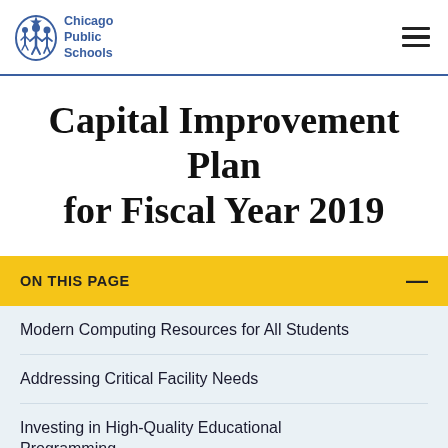Chicago Public Schools
Capital Improvement Plan for Fiscal Year 2019
ON THIS PAGE
Modern Computing Resources for All Students
Addressing Critical Facility Needs
Investing in High-Quality Educational Programming
Providing Overcrowding Relief